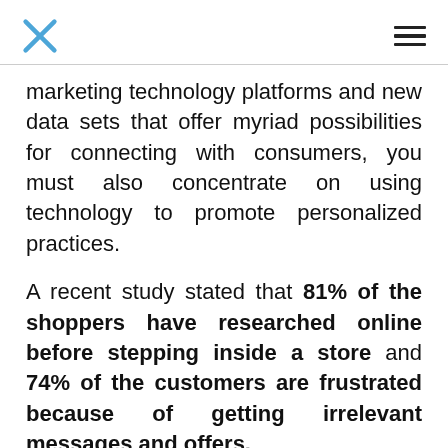X [logo] | hamburger menu
marketing technology platforms and new data sets that offer myriad possibilities for connecting with consumers, you must also concentrate on using technology to promote personalized practices.
A recent study stated that 81% of the shoppers have researched online before stepping inside a store and 74% of the customers are frustrated because of getting irrelevant messages and offers.
If you are looking to build meaningful connections with audiences across digital